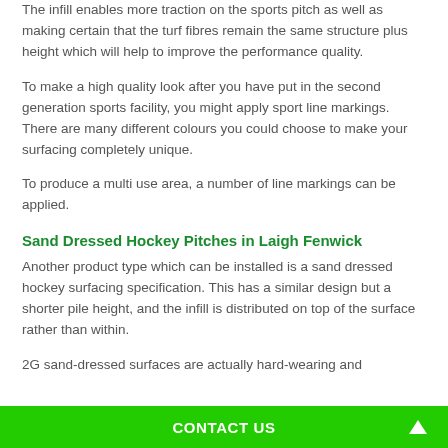The infill enables more traction on the sports pitch as well as making certain that the turf fibres remain the same structure plus height which will help to improve the performance quality.
To make a high quality look after you have put in the second generation sports facility, you might apply sport line markings. There are many different colours you could choose to make your surfacing completely unique.
To produce a multi use area, a number of line markings can be applied.
Sand Dressed Hockey Pitches in Laigh Fenwick
Another product type which can be installed is a sand dressed hockey surfacing specification. This has a similar design but a shorter pile height, and the infill is distributed on top of the surface rather than within.
2G sand-dressed surfaces are actually hard-wearing and
CONTACT US